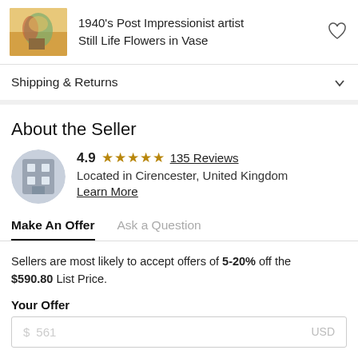1940's Post Impressionist artist Still Life Flowers in Vase
Shipping & Returns
About the Seller
4.9 ★★★★★ 135 Reviews
Located in Cirencester, United Kingdom
Learn More
Make An Offer   Ask a Question
Sellers are most likely to accept offers of 5-20% off the $590.80 List Price.
Your Offer
$ 561   USD